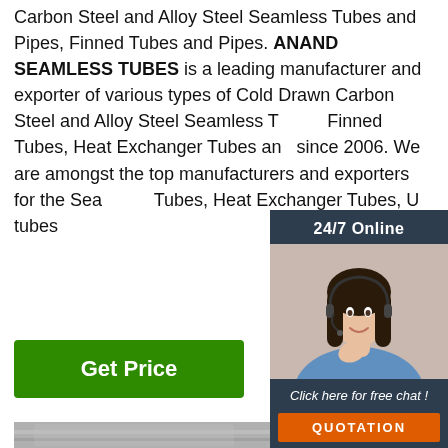Carbon Steel and Alloy Steel Seamless Tubes and Pipes, Finned Tubes and Pipes. ANAND SEAMLESS TUBES is a leading manufacturer and exporter of various types of Cold Drawn Carbon Steel and Alloy Steel Seamless Tubes, Finned Tubes, Heat Exchanger Tubes and since 2006. We are amongst the top manufacturers and exporters for the Seamless Tubes, Heat Exchanger Tubes, U tubes ...
[Figure (infographic): Customer service chat widget showing a woman with a headset, '24/7 Online' header, 'Click here for free chat!' text, and an orange QUOTATION button]
Get Price
[Figure (photo): Close-up photo of steel plates or tubes stacked together, showing metallic surface texture]
[Figure (logo): Orange dotted circular TOP badge/logo in bottom right corner]